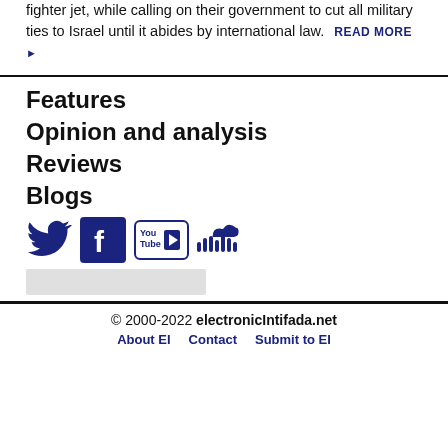fighter jet, while calling on their government to cut all military ties to Israel until it abides by international law. READ MORE ▶
Features
Opinion and analysis
Reviews
Blogs
[Figure (infographic): Social media icons: Twitter bird, Facebook F, YouTube, SoundCloud]
© 2000-2022 electronicIntifada.net About EI  Contact  Submit to EI